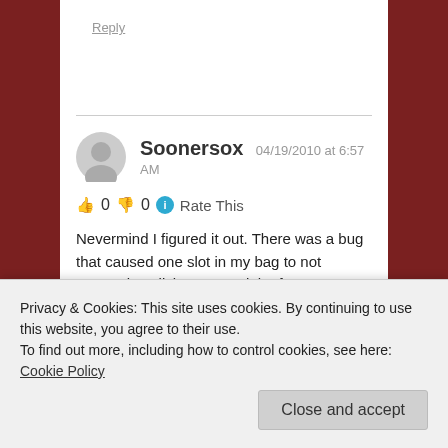Reply
Soonersox 04/19/2010 at 6:57 AM
👍 0 👎 0 ℹ Rate This
Nevermind I figured it out. There was a bug that caused one slot in my bag to not respond to clicks. I moved the fragment to a different slot and I can use it...
Privacy & Cookies: This site uses cookies. By continuing to use this website, you agree to their use.
To find out more, including how to control cookies, see here: Cookie Policy
Close and accept